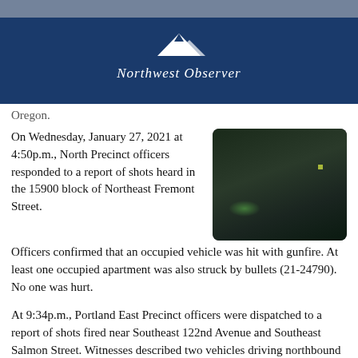Northwest Observer
Oregon.
On Wednesday, January 27, 2021 at 4:50p.m., North Precinct officers responded to a report of shots heard in the 15900 block of Northeast Fremont Street.
[Figure (photo): Dark nighttime photo of a surface with green light reflection and a small yellow-green dot visible]
Officers confirmed that an occupied vehicle was hit with gunfire. At least one occupied apartment was also struck by bullets (21-24790). No one was hurt.
At 9:34p.m., Portland East Precinct officers were dispatched to a report of shots fired near Southeast 122nd Avenue and Southeast Salmon Street. Witnesses described two vehicles driving northbound where occupants appeared to be shooting at each other. Some evidence was recovered. No known injuries.
At 11:37p.m., North Precinct officers were dispatched to a